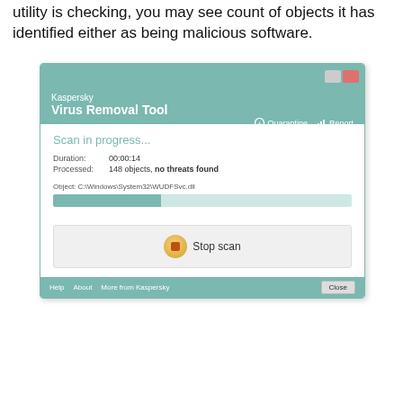utility is checking, you may see count of objects it has identified either as being malicious software.
[Figure (screenshot): Kaspersky Virus Removal Tool scan in progress window showing: Duration 00:00:14, Processed 148 objects no threats found, Object C:\Windows\System32\WUDFSvc.dll, progress bar, Stop scan button, and footer with Help, About, More from Kaspersky links and Close button.]